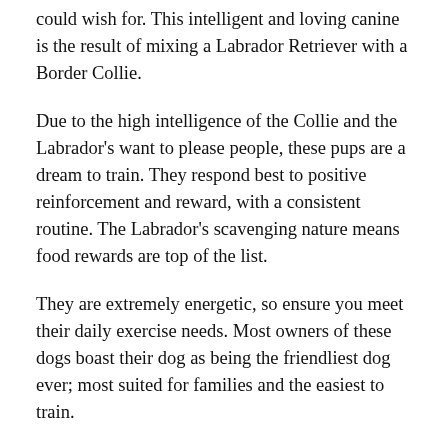could wish for. This intelligent and loving canine is the result of mixing a Labrador Retriever with a Border Collie.
Due to the high intelligence of the Collie and the Labrador's want to please people, these pups are a dream to train. They respond best to positive reinforcement and reward, with a consistent routine. The Labrador's scavenging nature means food rewards are top of the list.
They are extremely energetic, so ensure you meet their daily exercise needs. Most owners of these dogs boast their dog as being the friendliest dog ever; most suited for families and the easiest to train.
As both of his parents have working backgrounds, you could argue that the Border Collie Lab Mix is a working dog. However, as it's a mixed breed, and is not currently registered with any major Kennel Clubs, it is classed as a